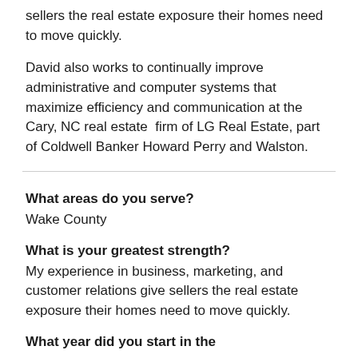sellers the real estate exposure their homes need to move quickly.
David also works to continually improve administrative and computer systems that maximize efficiency and communication at the Cary, NC real estate  firm of LG Real Estate, part of Coldwell Banker Howard Perry and Walston.
What areas do you serve?
Wake County
What is your greatest strength?
My experience in business, marketing, and customer relations give sellers the real estate exposure their homes need to move quickly.
What year did you start in the